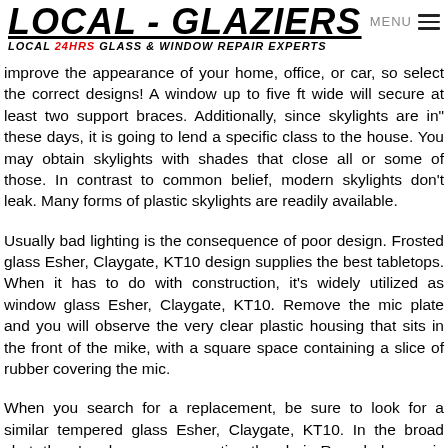LOCAL - GLAZIERS
LOCAL 24HRS GLASS & WINDOW REPAIR EXPERTS
improve the appearance of your home, office, or car, so select the correct designs! A window up to five ft wide will secure at least two support braces. Additionally, since skylights are in” these days, it is going to lend a specific class to the house. You may obtain skylights with shades that close all or some of those. In contrast to common belief, modern skylights don't leak. Many forms of plastic skylights are readily available.
Usually bad lighting is the consequence of poor design. Frosted glass Esher, Claygate, KT10 design supplies the best tabletops. When it has to do with construction, it’s widely utilized as window glass Esher, Claygate, KT10. Remove the mic plate and you will observe the very clear plastic housing that sits in the front of the mike, with a square space containing a slice of rubber covering the mic.
When you search for a replacement, be sure to look for a similar tempered glass Esher, Claygate, KT10. In the broad shot, there’s a bear rug supporting the chair. Recycled ceramic tiles via an old